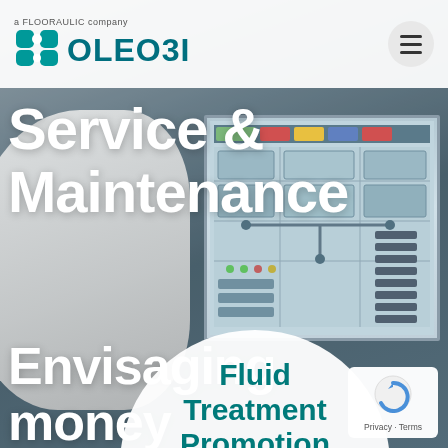[Figure (screenshot): Website screenshot of Oleobi (a Flooraulic company) service and maintenance page. Background shows industrial equipment and a monitor with control software. A white circle overlay features 'Fluid Treatment Promotion' text and a water drop icon. A Google reCAPTCHA/privacy badge is in the bottom right.]
a FLOORAULIC company OLEOBI
Service & Maintenance
Envisaging money saving
Fluid Treatment Promotion
Privacy · Terms